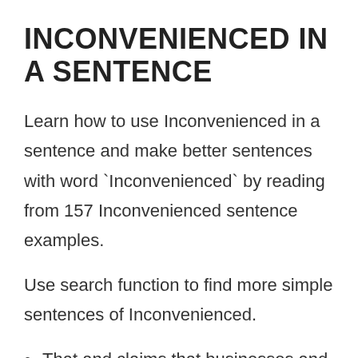INCONVENIENCED IN A SENTENCE
Learn how to use Inconvenienced in a sentence and make better sentences with word `Inconvenienced` by reading from 157 Inconvenienced sentence examples.
Use search function to find more simple sentences of Inconvenienced.
That and claims that businesses and